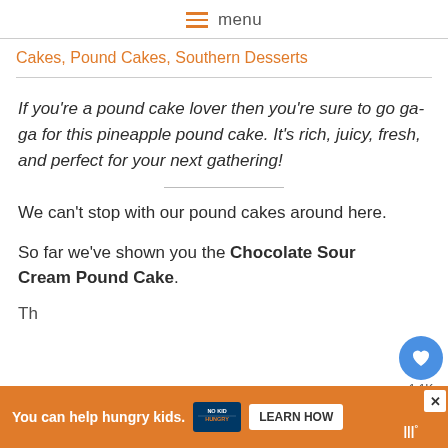menu
Cakes, Pound Cakes, Southern Desserts
If you’re a pound cake lover then you’re sure to go ga-ga for this pineapple pound cake. It’s rich, juicy, fresh, and perfect for your next gathering!
We can’t stop with our pound cakes around here.
So far we’ve shown you the Chocolate Sour Cream Pound Cake.
Th...
[Figure (other): Advertisement banner: orange background, text 'You can help hungry kids.' with No Kid Hungry logo and LEARN HOW button]